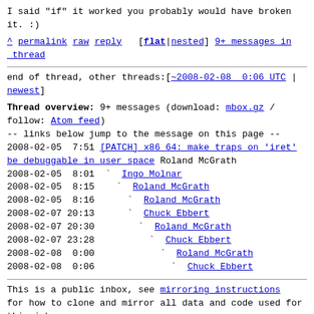I said "if" it worked you probably would have broken it. :)
^ permalink raw reply [flat|nested] 9+ messages in thread
end of thread, other threads:[~2008-02-08  0:06 UTC | newest]
Thread overview: 9+ messages (download: mbox.gz / follow: Atom feed)
-- links below jump to the message on this page --
2008-02-05  7:51 [PATCH] x86 64: make traps on 'iret' be debuggable in user space Roland McGrath
2008-02-05  8:01   Ingo Molnar
2008-02-05  8:15     Roland McGrath
2008-02-05  8:16       Roland McGrath
2008-02-07 20:13       Chuck Ebbert
2008-02-07 20:30         Roland McGrath
2008-02-07 23:28           Chuck Ebbert
2008-02-08  0:00             Roland McGrath
2008-02-08  0:06               Chuck Ebbert
This is a public inbox, see mirroring instructions for how to clone and mirror all data and code used for this inbox;
as well as URLs for NNTP newsgroup(s).